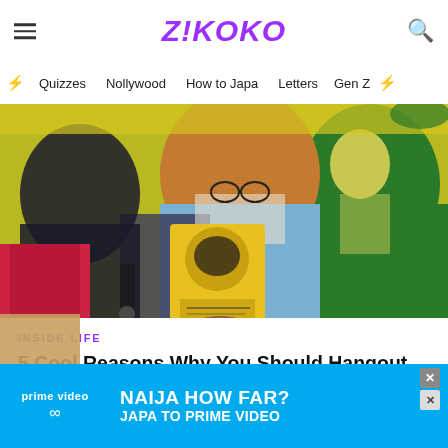Z!KOKO
Quizzes  Nollywood  How to Japa  Letters  Gen Z
[Figure (photo): A person holding a yellow book titled 'There Was a Country' by Chinua Achebe, in front of a colorful painted mural featuring stylized portraits of figures in green and orange tones.]
INSIDE LIFE
5 Cool Reasons Why You Should Hangout At Iba Ajie
[Figure (photo): Amazon Prime Video advertisement: 'NAIJA HOW FAR? JAPA TO PRIME VIDEO' on a cyan/blue background with the Prime Video logo on the left.]